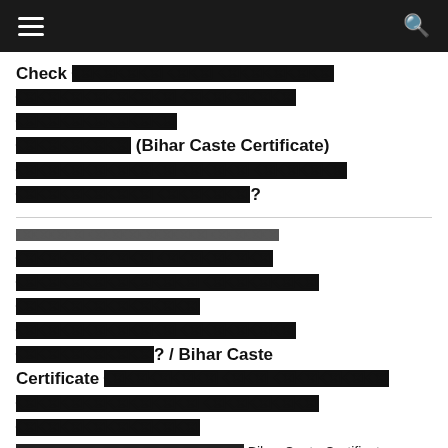Navigation bar with menu and search icons
Check [Hindi text] (Bihar Caste Certificate) [Hindi text]?
[Hindi category text]
[Hindi text] / Bihar Caste Certificate [Hindi text] Bihar Caste Certificate [Hindi text]...
[Hindi category text]
[Hindi text]? UP Marriage Certificate  UP Marriage Registration [Hindi text], [Hindi text]...